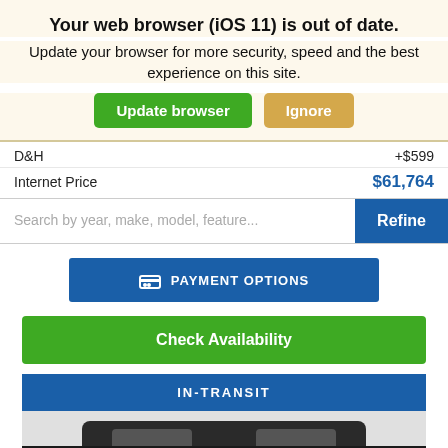Your web browser (iOS 11) is out of date.
Update your browser for more security, speed and the best experience on this site.
Update browser | Ignore
D&H  +$599
Internet Price  $61,764
Search by year, make, model, feature...
Refine
PAYMENT OPTIONS
Check Availability
IN-TRANSIT
[Figure (photo): Partial view of a dark-colored SUV/vehicle, showing the roof and upper body]